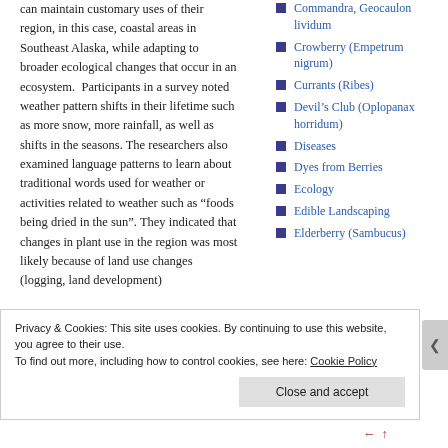can maintain customary uses of their region, in this case, coastal areas in Southeast Alaska, while adapting to broader ecological changes that occur in an ecosystem. Participants in a survey noted weather pattern shifts in their lifetime such as more snow, more rainfall, as well as shifts in the seasons. The researchers also examined language patterns to learn about traditional words used for weather or activities related to weather such as “foods being dried in the sun”. They indicated that changes in plant use in the region was most likely because of land use changes (logging, land development)
Commandra, Geocaulon lividum
Crowberry (Empetrum nigrum)
Currants (Ribes)
Devil’s Club (Oplopanax horridum)
Diseases
Dyes from Berries
Ecology
Edible Landscaping
Elderberry (Sambucus)
Privacy & Cookies: This site uses cookies. By continuing to use this website, you agree to their use. To find out more, including how to control cookies, see here: Cookie Policy
Close and accept